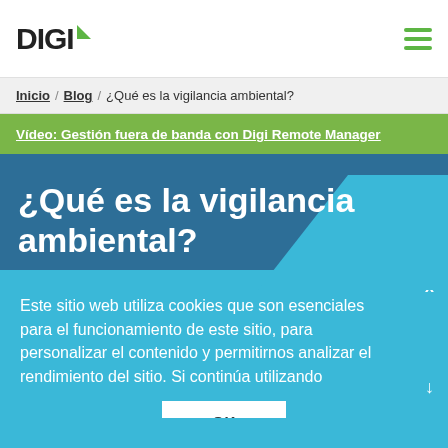DIGI
Inicio / Blog / ¿Qué es la vigilancia ambiental?
Vídeo: Gestión fuera de banda con Digi Remote Manager
¿Qué es la vigilancia ambiental?
Este sitio web utiliza cookies que son esenciales para el funcionamiento de este sitio, para personalizar el contenido y permitirnos analizar el rendimiento del sitio. Si continúa utilizando
OK